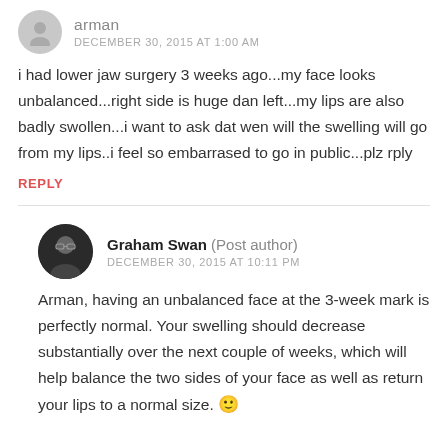arman
DECEMBER 30, 2015 AT 1:00 AM
i had lower jaw surgery 3 weeks ago...my face looks unbalanced...right side is huge dan left...my lips are also badly swollen...i want to ask dat wen will the swelling will go from my lips..i feel so embarrased to go in public...plz rply
REPLY
Graham Swan (Post author)
DECEMBER 30, 2015 AT 10:11 PM
Arman, having an unbalanced face at the 3-week mark is perfectly normal. Your swelling should decrease substantially over the next couple of weeks, which will help balance the two sides of your face as well as return your lips to a normal size. 🙂